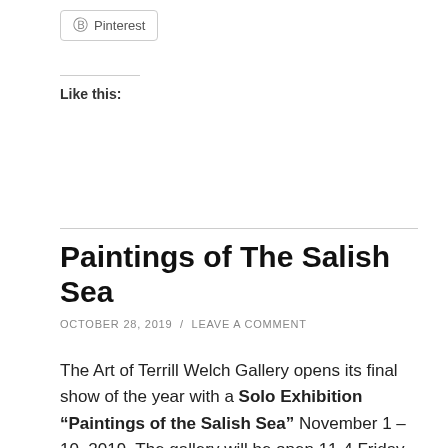[Figure (other): Pinterest share button with Pinterest logo icon and text]
Like this:
Paintings of The Salish Sea
OCTOBER 28, 2019 / LEAVE A COMMENT
The Art of Terrill Welch Gallery opens its final show of the year with a Solo Exhibition “Paintings of the Salish Sea” November 1 – 10, 2019. The gallery will be open 11-4 Friday, Saturday and Sunday on the first weekend and Friday and Saturday on the second weekend as well